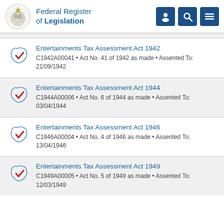Federal Register of Legislation
Entertainments Tax Assessment Act 1942
C1942A00041 • Act No. 41 of 1942 as made • Assented To: 21/09/1942
Entertainments Tax Assessment Act 1944
C1944A00006 • Act No. 6 of 1944 as made • Assented To: 03/04/1944
Entertainments Tax Assessment Act 1946
C1946A00004 • Act No. 4 of 1946 as made • Assented To: 13/04/1946
Entertainments Tax Assessment Act 1949
C1949A00005 • Act No. 5 of 1949 as made • Assented To: 12/03/1949